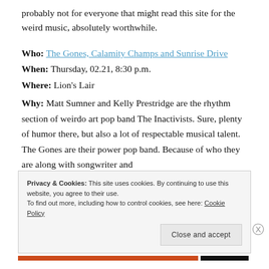probably not for everyone that might read this site for the weird music, absolutely worthwhile.
Who: The Gones, Calamity Champs and Sunrise Drive
When: Thursday, 02.21, 8:30 p.m.
Where: Lion's Lair
Why: Matt Sumner and Kelly Prestridge are the rhythm section of weirdo art pop band The Inactivists. Sure, plenty of humor there, but also a lot of respectable musical talent. The Gones are their power pop band. Because of who they are along with songwriter and...
Privacy & Cookies: This site uses cookies. By continuing to use this website, you agree to their use. To find out more, including how to control cookies, see here: Cookie Policy
Close and accept